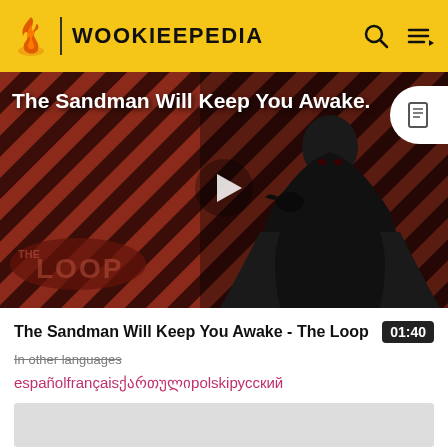WOOKIEEPEDIA
[Figure (screenshot): Video thumbnail showing a dark cloaked figure against a red and black diagonal striped background with 'THE LOOP' text logo. Title overlay reads 'The Sandman Will Keep You Awake.' with a play button in the center.]
The Sandman Will Keep You Awake - The Loop
In other languages
españolfrançaisქართულიpolskiрусский